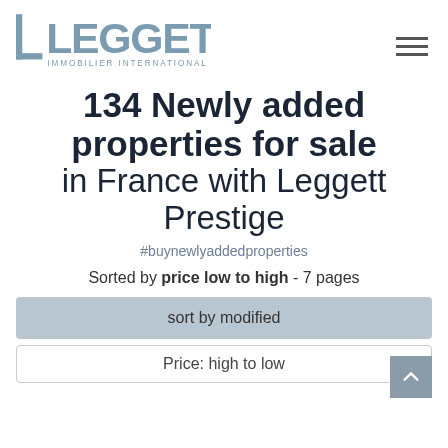[Figure (logo): Leggett Immobilier International logo — large blue-grey text LEGGETT with a stylized L bracket mark on the left, and IMMOBILIER INTERNATIONAL in smaller caps below]
134 Newly added properties for sale in France with Leggett Prestige
#buynewlyaddedproperties
Sorted by price low to high - 7 pages
sort by modified
Price: high to low